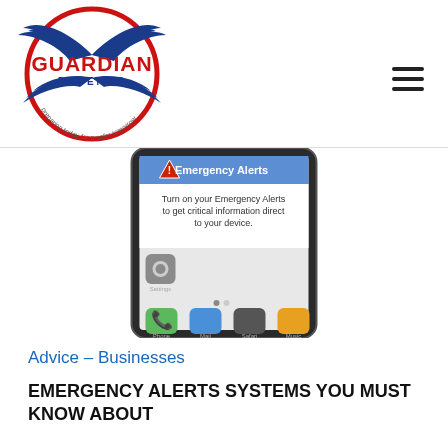[Figure (logo): Guardian Defense logo with eagle wings, red circle, and text 'preparing today for a safer tomorrow']
[Figure (screenshot): iPhone screenshot showing Emergency Alerts notification: 'Turn on your Emergency Alerts to get critical information direct to your device.' with phone app icons below]
Advice - Businesses
EMERGENCY ALERTS SYSTEMS YOU MUST KNOW ABOUT
Emergency alerts notify groups of people during a